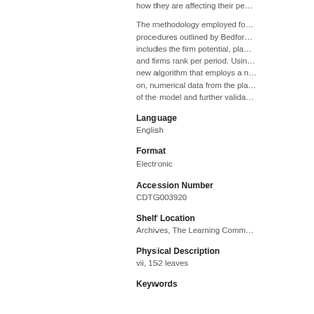how they are affecting their pe...
The methodology employed fo... procedures outlined by Bedfor... includes the firm potential, pla... and firms rank per period. Usin... new algorithm that employs a n... on, numerical data from the pla... of the model and further valida...
Language
English
Format
Electronic
Accession Number
CDTG003920
Shelf Location
Archives, The Learning Comm...
Physical Description
vii, 152 leaves
Keywords